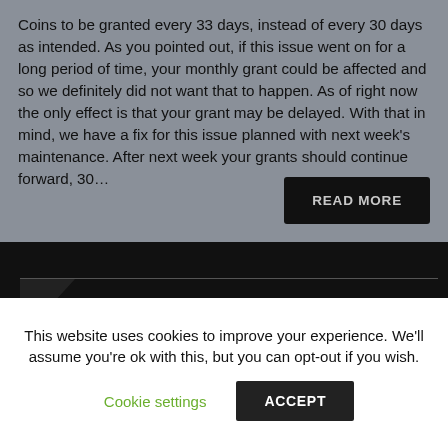Coins to be granted every 33 days, instead of every 30 days as intended. As you pointed out, if this issue went on for a long period of time, your monthly grant could be affected and so we definitely did not want that to happen. As of right now the only effect is that your grant may be delayed. With that in mind, we have a fix for this issue planned with next week's maintenance. After next week your grants should continue forward, 30…
READ MORE
This website uses cookies to improve your experience. We'll assume you're ok with this, but you can opt-out if you wish.
Cookie settings
ACCEPT